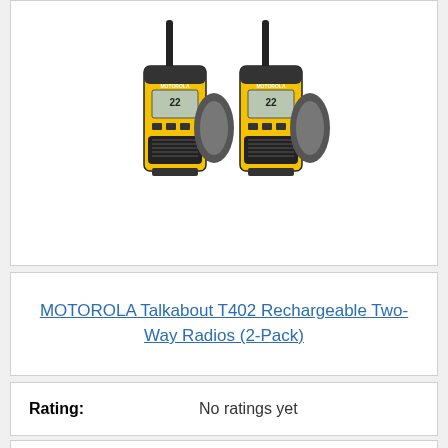[Figure (photo): Two Motorola Talkabout T402 walkie-talkie radios in yellow and black, shown side by side with belt clips]
MOTOROLA Talkabout T402 Rechargeable Two-Way Radios (2-Pack)
Rating: No ratings yet
Buy on Amazon
Bestseller No. 9